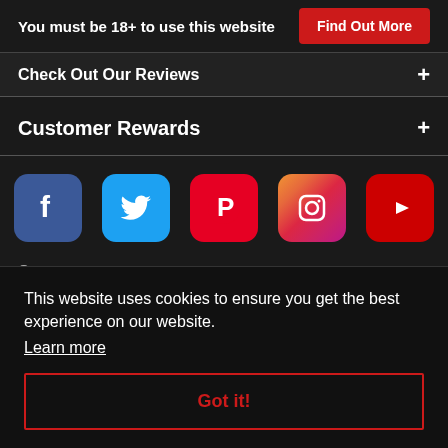You must be 18+ to use this website  Find Out More
Check Out Our Reviews  +
Customer Rewards  +
[Figure (other): Social media icons row: Facebook, Twitter, Pinterest, Instagram, YouTube]
This website uses cookies to ensure you get the best experience on our website. Learn more
Got it!